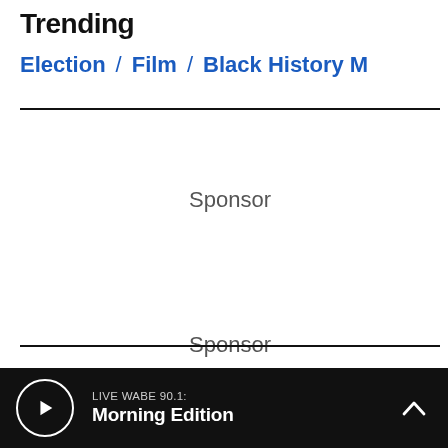Trending
Election / Film / Black History M
Sponsor
Sponsor
Top Stories
LIVE WABE 90.1: Morning Edition